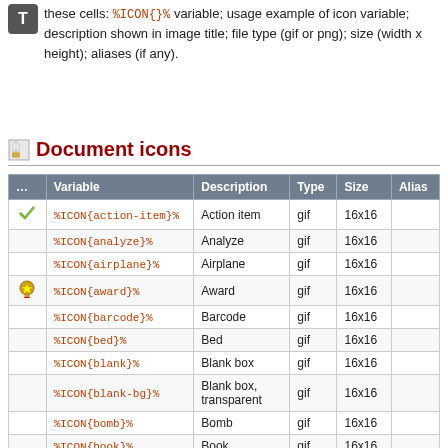these cells: %ICON{}% variable; usage example of icon variable; description shown in image title; file type (gif or png); size (width x height); aliases (if any).
Document icons
|  | Variable | Description | Type | Size | Alias |
| --- | --- | --- | --- | --- | --- |
| [icon] | %ICON{action-item}% | Action item | gif | 16x16 |  |
|  | %ICON{analyze}% | Analyze | gif | 16x16 |  |
|  | %ICON{airplane}% | Airplane | gif | 16x16 |  |
| [icon] | %ICON{award}% | Award | gif | 16x16 |  |
|  | %ICON{barcode}% | Barcode | gif | 16x16 |  |
|  | %ICON{bed}% | Bed | gif | 16x16 |  |
|  | %ICON{blank}% | Blank box | gif | 16x16 |  |
|  | %ICON{blank-bg}% | Blank box, transparent | gif | 16x16 |  |
|  | %ICON{bomb}% | Bomb | gif | 16x16 |  |
|  | %ICON{book}% | Book | gif | 16x16 |  |